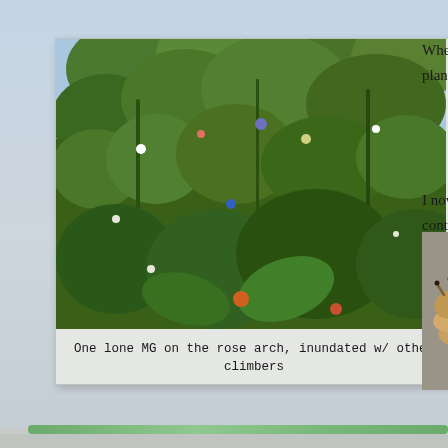[Figure (photo): Garden photo showing lush green climbing plants on a rose arch, with dense foliage, flowers and climbers in a summer garden]
One lone MG on the rose arch, inundated w/ other climbers
When RF st... savaged an... to plant the... round its up...
I now also u... electric cha... contact with...
[Figure (photo): Close-up photo of a brown/tan slug on a grey surface]
[Figure (photo): Close-up photo of food items including what appears to be packaged goods and fabric/textile]
Lockdown Mornin...
This spring, becau... Main Ci...